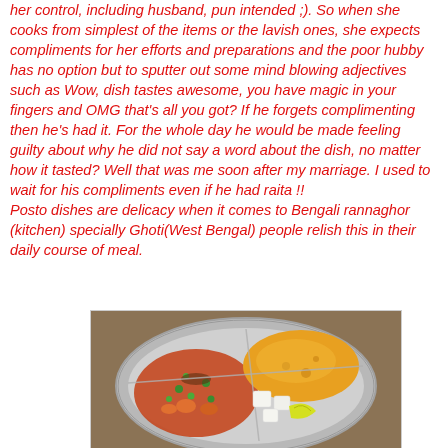her control, including husband, pun intended ;). So when she cooks from simplest of the items or the lavish ones, she expects compliments for her efforts and preparations and the poor hubby has no option but to sputter out some mind blowing adjectives such as Wow, dish tastes awesome, you have magic in your fingers and OMG that's all you got? If he forgets complimenting then he's had it. For the whole day he would be made feeling guilty about why he did not say a word about the dish, no matter how it tasted? Well that was me soon after my marriage. I used to wait for his compliments even if he had raita !!
Posto dishes are delicacy when it comes to Bengali rannaghor (kitchen) specially Ghoti(West Bengal) people relish this in their daily course of meal.
[Figure (photo): A steel divided thali/plate containing multiple food items: a curry with green peas and vegetables on the left, a yellow-orange dal or curry on the upper right, and white cubed paneer or cheese with a lemon wedge on the lower right.]